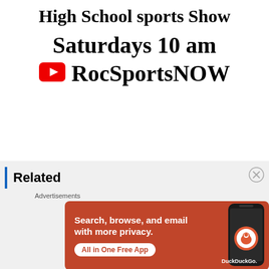High School sports Show
Saturdays 10 am
RocSportsNOW
Related
[Figure (infographic): DuckDuckGo advertisement banner with orange background. Text: 'Search, browse, and email with more privacy. All in One Free App'. Shows a DuckDuckGo logo icon and phone graphic.]